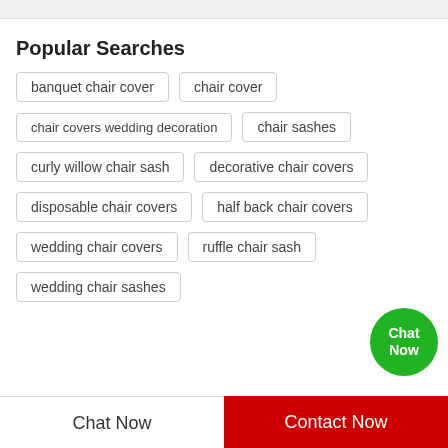Popular Searches
banquet chair cover
chair cover
chair covers wedding decoration
chair sashes
curly willow chair sash
decorative chair covers
disposable chair covers
half back chair covers
wedding chair covers
ruffle chair sash
wedding chair sashes
Chat Now | Contact Now